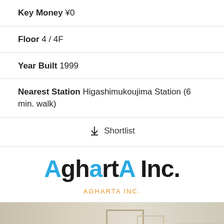Key Money ¥0
Floor 4 / 4F
Year Built 1999
Nearest Station Higashimukoujima Station (6 min. walk)
↓ Shortlist
[Figure (logo): AghartA Inc. logo with blue and black stylized text, subtitle AGHARTA INC. in orange]
[Figure (photo): Interior room photo showing beige/cream walls and a framed panel or door]